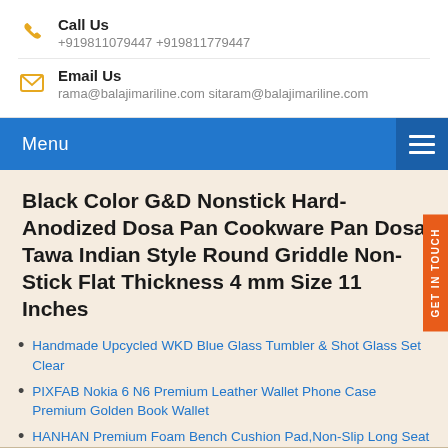Call Us
+919811079447 +919811779447
Email Us
rama@balajimariline.com sitaram@balajimariline.com
Menu
Black Color G&D Nonstick Hard-Anodized Dosa Pan Cookware Pan Dosa Tawa Indian Style Round Griddle Non-Stick Flat Thickness 4 mm Size 11 Inches
Handmade Upcycled WKD Blue Glass Tumbler & Shot Glass Set Clear
PIXFAB Nokia 6 N6 Premium Leather Wallet Phone Case Premium Golden Book Wallet
HANHAN Premium Foam Bench Cushion Pad,Non-Slip Long Seat